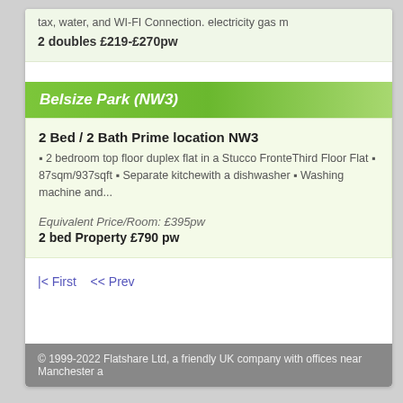tax, water, and WI-FI Connection. electricity gas m...
2 doubles £219-£270pw
Belsize Park (NW3)
2 Bed / 2 Bath Prime location NW3
▪ 2 bedroom top floor duplex flat in a Stucco Fronte... Third Floor Flat ▪ 87sqm/937sqft ▪ Separate kitche... with a dishwasher ▪ Washing machine and...
Equivalent Price/Room: £395pw
2 bed Property £790 pw
|< First   << Prev
© 1999-2022 Flatshare Ltd, a friendly UK company with offices near Manchester a...